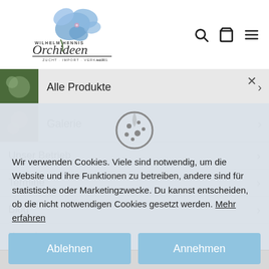[Figure (logo): Wilhelm Hennis Orchideen logo with blue orchid flowers, text 'ZUCHT · IMPORT · VERKAUF' below]
Alle Produkte
Galerie
Unser Betrieb
Termine
Blog
Kontakt
Wir verwenden Cookies. Viele sind notwendig, um die Website und ihre Funktionen zu betreiben, andere sind für statistische oder Marketingzwecke. Du kannst entscheiden, ob die nicht notwendigen Cookies gesetzt werden. Mehr erfahren